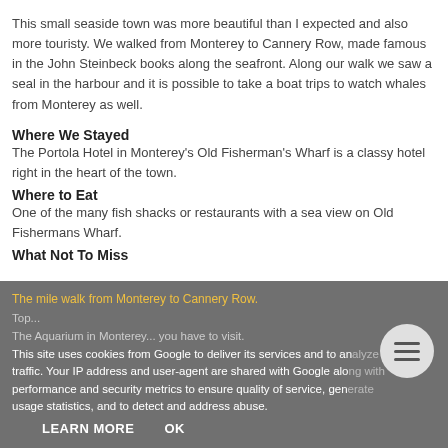This small seaside town was more beautiful than I expected and also more touristy. We walked from Monterey to Cannery Row, made famous in the John Steinbeck books along the seafront. Along our walk we saw a seal in the harbour and it is possible to take a boat trips to watch whales from Monterey as well.
Where We Stayed
The Portola Hotel in Monterey's Old Fisherman's Wharf is a classy hotel right in the heart of the town.
Where to Eat
One of the many fish shacks or restaurants with a sea view on Old Fishermans Wharf.
What Not To Miss
The mile walk from Monterey to Cannery Row.
Top...
The Aquarium in Monterey, you have to visit.
This site uses cookies from Google to deliver its services and to analyze traffic. Your IP address and user-agent are shared with Google along with performance and security metrics to ensure quality of service, generate usage statistics, and to detect and address abuse.
LEARN MORE    OK